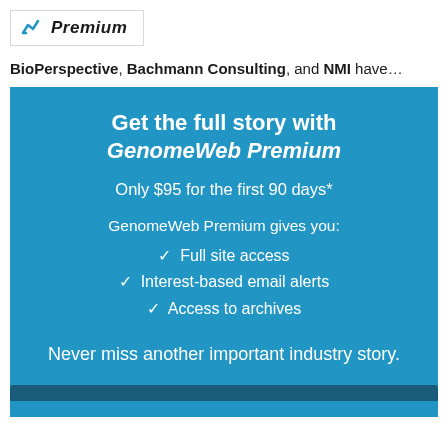Premium
BioPerspective, Bachmann Consulting, and NMI have…
[Figure (infographic): Blue promotional box for GenomeWeb Premium subscription. Contains heading 'Get the full story with GenomeWeb Premium', price 'Only $95 for the first 90 days*', feature list with checkmarks: Full site access, Interest-based email alerts, Access to archives, and tagline 'Never miss another important industry story.']